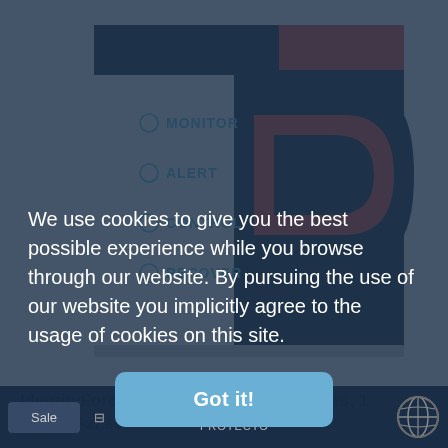[Figure (illustration): IdentityForce ID Theft Protection product box with dark navy and red design showing MONITOR, ALERT, CONTROL, RECOVER labels]
IdentityForce ID Theft Protection 5 Users, 1
$59.99 $27.60
We use cookies to give you the best possible experience while you browse through our website. By pursuing the use of our website you implicitly agree to the usage of cookies on this site.
Got it!
Sale
English
ID THEFT PROTECTO...